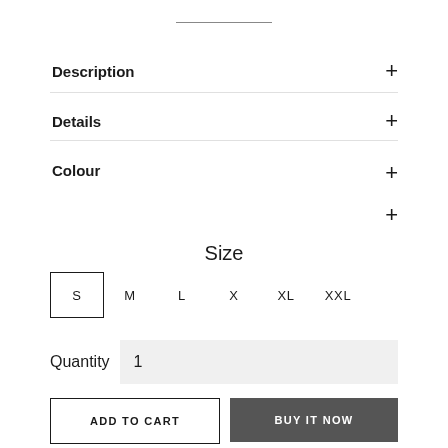Description +
Details +
Colour
Care Instruction +
Size
S  M  L  X  XL  XXL
Quantity  1
ADD TO CART
BUY IT NOW